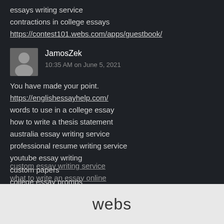essays writing service
contractions in college essays
https://contest101.webs.com/apps/guestbook/
JamosZek
10:35 AM on June 5, 2021
You have made your point.
https://englishessayhelp.com/
words to use in a college essay
how to write a thesis statement
australia essay writing service
professional resume writing service
youtube essay writing
custom papers
college essay promps
cheap essay writing service
buy an essay online
custom essay writing service
what to write an essay about
webs